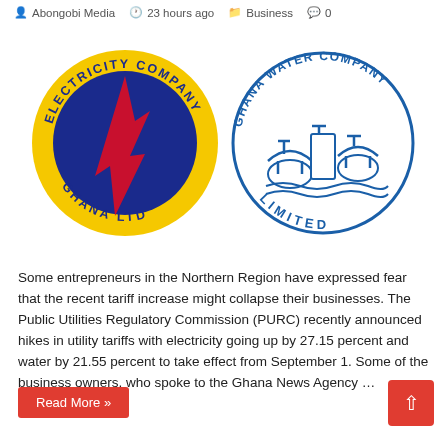Abongobi Media   23 hours ago   Business   0
[Figure (logo): Two circular logos side by side: Electricity Company Ghana Ltd (yellow and blue circle with lightning bolt) and Ghana Water Company Limited (blue and white circle with water vessels)]
Some entrepreneurs in the Northern Region have expressed fear that the recent tariff increase might collapse their businesses. The Public Utilities Regulatory Commission (PURC) recently announced hikes in utility tariffs with electricity going up by 27.15 percent and water by 21.55 percent to take effect from September 1. Some of the business owners, who spoke to the Ghana News Agency …
Read More »